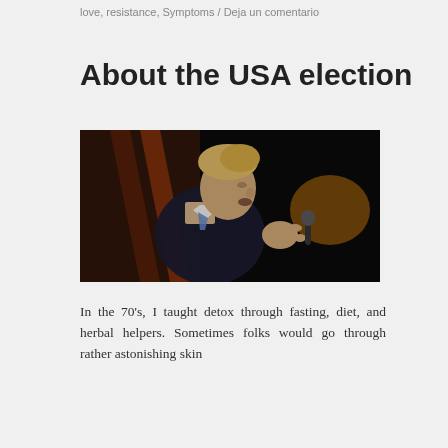love, resistance, Symptoms / Deja un comentario
About the USA election
[Figure (photo): A man in a dark suit speaking at a microphone, photographed in profile from the right side, against a dark background with a warm-toned light in the background.]
In the 70's, I taught detox through fasting, diet, and herbal helpers. Sometimes folks would go through rather astonishing skin